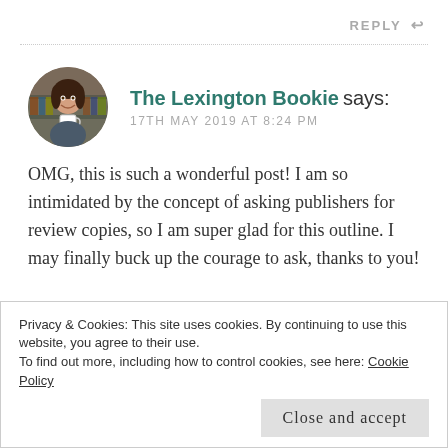REPLY ↩
[Figure (photo): Circular avatar photo of a young woman smiling, holding a white mug, with bookshelves in the background]
The Lexington Bookie says:
17TH MAY 2019 AT 8:24 PM
OMG, this is such a wonderful post! I am so intimidated by the concept of asking publishers for review copies, so I am super glad for this outline. I may finally buck up the courage to ask, thanks to you!
Privacy & Cookies: This site uses cookies. By continuing to use this website, you agree to their use.
To find out more, including how to control cookies, see here: Cookie Policy
Close and accept